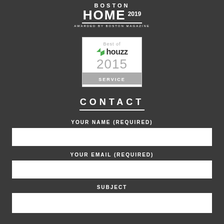[Figure (logo): Boston Home 2019 Awarded by Boston Magazine logo in white text on dark background]
[Figure (logo): Best of Houzz 2015 Service badge - white box with Houzz logo and grey service bar]
CONTACT
YOUR NAME (REQUIRED)
YOUR EMAIL (REQUIRED)
SUBJECT